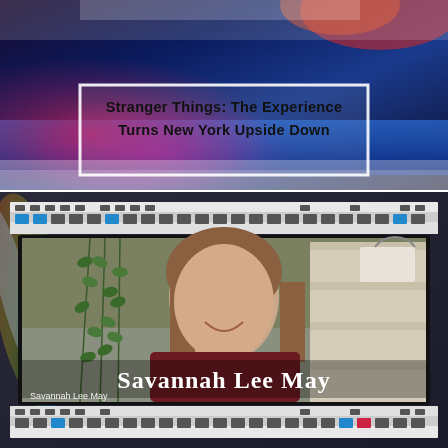[Figure (photo): Top banner image showing colorful abstract background with blue and purple tones, with a white rectangular frame overlay]
Stranger Things: The Experience Turns New York Upside Down
[Figure (photo): Video screenshot of Savannah Lee May smiling, shown in a film strip frame with sprocket holes at top and bottom. The lower third shows 'Savannah Lee May' in large white serif font, with a smaller 'Savannah Lee May' label beneath it. Background shows a room with a bookshelf and leaf garland curtain.]